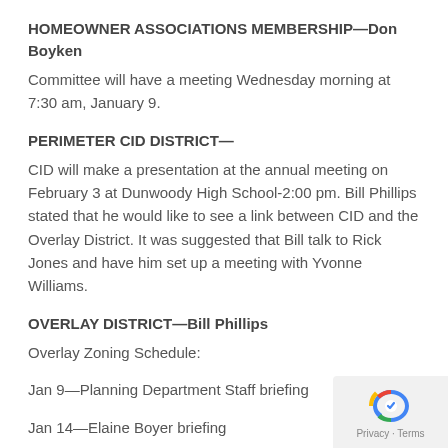HOMEOWNER ASSOCIATIONS MEMBERSHIP—Don Boyken
Committee will have a meeting Wednesday morning at 7:30 am, January 9.
PERIMETER CID DISTRICT—
CID will make a presentation at the annual meeting on February 3 at Dunwoody High School-2:00 pm. Bill Phillips stated that he would like to see a link between CID and the Overlay District. It was suggested that Bill talk to Rick Jones and have him set up a meeting with Yvonne Williams.
OVERLAY DISTRICT—Bill Phillips
Overlay Zoning Schedule:
Jan 9—Planning Department Staff briefing
Jan 14—Elaine Boyer briefing